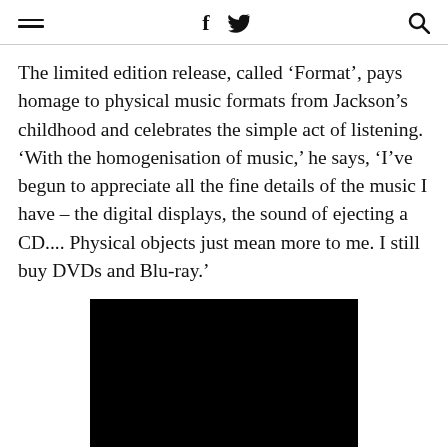≡  f  🐦  🔍
The limited edition release, called ‘Format’, pays homage to physical music formats from Jackson’s childhood and celebrates the simple act of listening. ‘With the homogenisation of music,’ he says, ‘I’ve begun to appreciate all the fine details of the music I have – the digital displays, the sound of ejecting a CD.... Physical objects just mean more to me. I still buy DVDs and Blu-ray.’
[Figure (photo): Black rectangle image area, likely a video thumbnail or photograph with no visible content (fully black).]